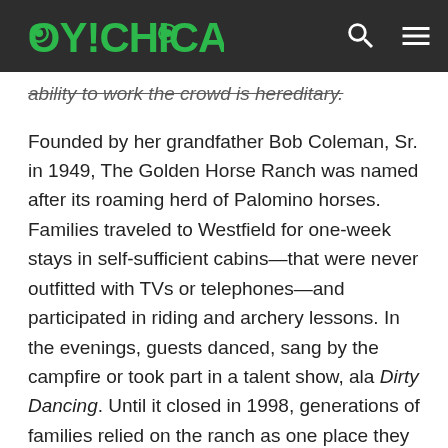OY!CHICAGO
ability to work the crowd is hereditary.
Founded by her grandfather Bob Coleman, Sr. in 1949, The Golden Horse Ranch was named after its roaming herd of Palomino horses. Families traveled to Westfield for one-week stays in self-sufficient cabins—that were never outfitted with TVs or telephones—and participated in riding and archery lessons. In the evenings, guests danced, sang by the campfire or took part in a talent show, ala Dirty Dancing. Until it closed in 1998, generations of families relied on the ranch as one place they could count on to remain the same year after year.
Drawn by more than horses and archery, guests